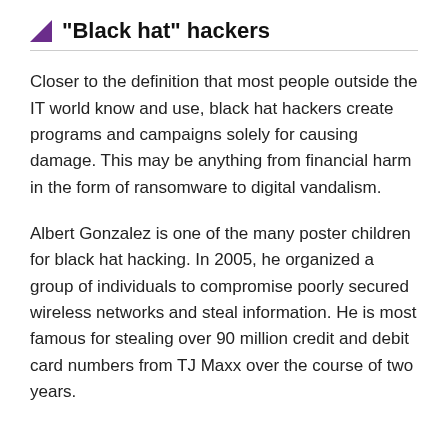“Black hat” hackers
Closer to the definition that most people outside the IT world know and use, black hat hackers create programs and campaigns solely for causing damage. This may be anything from financial harm in the form of ransomware to digital vandalism.
Albert Gonzalez is one of the many poster children for black hat hacking. In 2005, he organized a group of individuals to compromise poorly secured wireless networks and steal information. He is most famous for stealing over 90 million credit and debit card numbers from TJ Maxx over the course of two years.